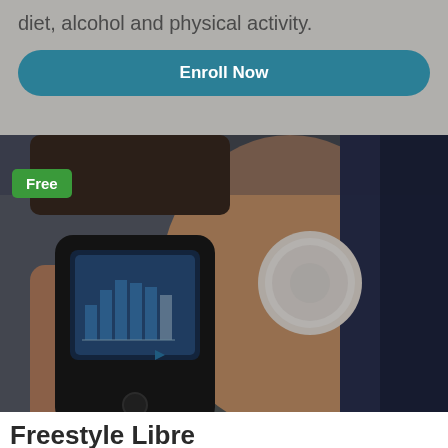diet, alcohol and physical activity.
Enroll Now
[Figure (photo): Person holding a FreeStyle Libre glucose monitoring reader device showing a bar chart on screen, with a circular CGM sensor patch visible on their upper arm. Background is dark overlay.]
Free
Freestyle Libre